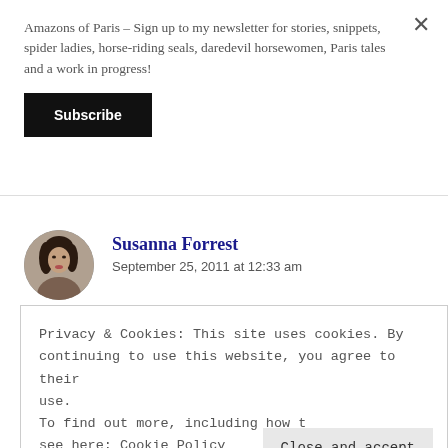Amazons of Paris – Sign up to my newsletter for stories, snippets, spider ladies, horse-riding seals, daredevil horsewomen, Paris tales and a work in progress!
[Figure (other): Subscribe button (black rectangle with white bold text)]
[Figure (photo): Circular avatar photo of Susanna Forrest]
Susanna Forrest
September 25, 2011 at 12:33 am
Not drag at all! They hunt The Clean Boot. Only
Privacy & Cookies: This site uses cookies. By continuing to use this website, you agree to their use.
To find out more, including how t... see here: Cookie Policy
himself in for!